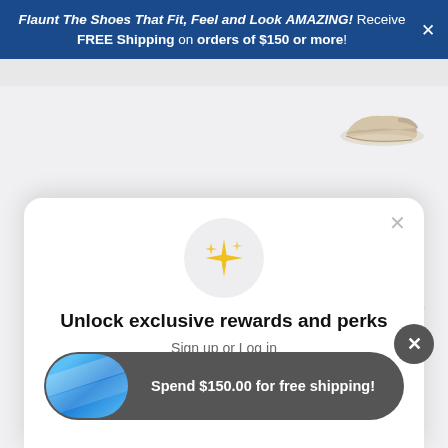Flaunt The Shoes That Fit, Feel and Look AMAZING! Receive FREE Shipping on orders of $150 or more!
[Figure (screenshot): Shoe product thumbnails visible in page background — a beige slip-on sneaker and a tan loafer]
Unlock exclusive rewards and perks
Sign up or Log in
Sign up
Spend $150.00 for free shipping!